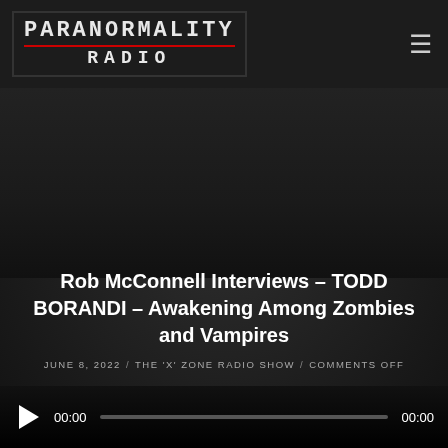[Figure (logo): Paranormality Radio logo with dark background, red underline, and stacked text: PARANORMALITY on top, RADIO on bottom]
Rob McConnell Interviews – TODD BORANDI – Awakening Among Zombies and Vampires
JUNE 8, 2022  /  THE 'X' ZONE RADIO SHOW  /  COMMENTS OFF
[Figure (other): Audio player with play button, seek bar, current time 00:00 and total time 00:00]